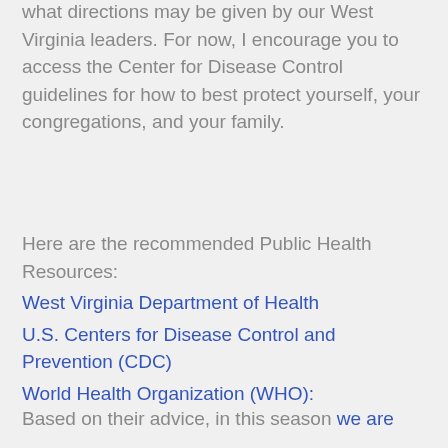to date on the latest information and monitor what directions may be given by our West Virginia leaders. For now, I encourage you to access the Center for Disease Control guidelines for how to best protect yourself, your congregations, and your family.
Here are the recommended Public Health Resources: West Virginia Department of Health U.S. Centers for Disease Control and Prevention (CDC) World Health Organization (WHO):
Based on their advice, in this season we are